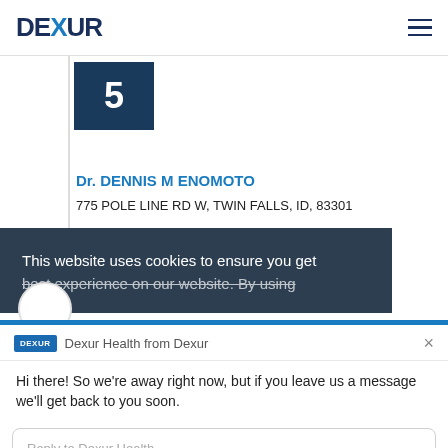DEXUR
[Figure (other): Blue square badge with number 5]
Dr. DENNIS M ENOMOTO
775 POLE LINE RD W, TWIN FALLS, ID, 83301
This website uses cookies to ensure you get the best experience on our website. By using
Dexur Health from Dexur
Hi there! So we're away right now, but if you leave us a message we'll get back to you soon.
Reply to Dexur Health
Chat ⚡ by Drift